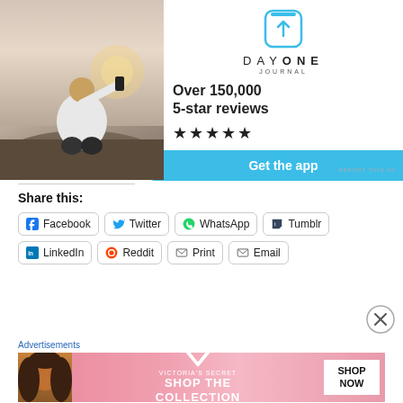[Figure (photo): DayOne Journal advertisement banner with a photo of a person sitting on rocks photographing a sunset, alongside the DayOne journal logo, text 'Over 150,000 5-star reviews', five star rating, and a 'Get the app' button]
REPORT THIS AD
Share this:
Facebook  Twitter  WhatsApp  Tumblr
LinkedIn  Reddit  Print  Email
[Figure (other): Close/dismiss circle button]
Advertisements
[Figure (other): Victoria's Secret advertisement banner: pink background with model, VS logo, 'SHOP THE COLLECTION', 'SHOP NOW' button]